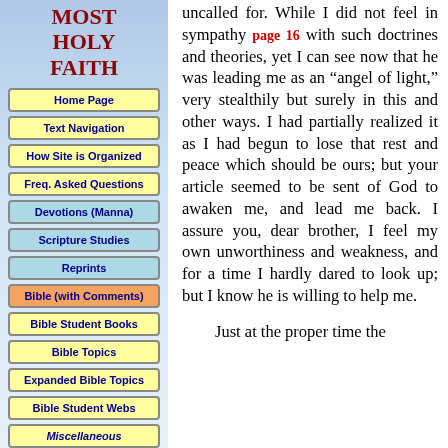MOST HOLY FAITH
Home Page
Text Navigation
How Site is Organized
Freq. Asked Questions
Devotions (Manna)
Scripture Studies
Reprints
Bible (with Comments)
Bible Student Books
Bible Topics
Expanded Bible Topics
Bible Student Webs
Miscellaneous
uncalled for. While I did not feel in sympathy page 16 with such doctrines and theories, yet I can see now that he was leading me as an "angel of light," very stealthily but surely in this and other ways. I had partially realized it as I had begun to lose that rest and peace which should be ours; but your article seemed to be sent of God to awaken me, and lead me back. I assure you, dear brother, I feel my own unworthiness and weakness, and for a time I hardly dared to look up; but I know he is willing to help me. Just at the proper time the